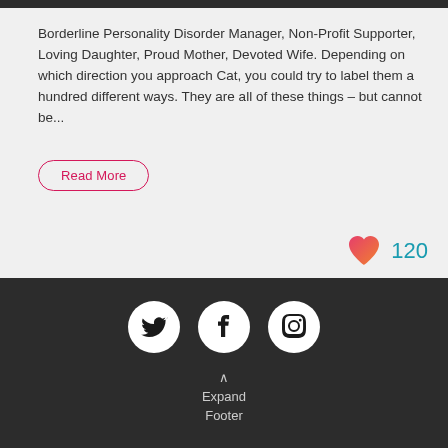Borderline Personality Disorder Manager, Non-Profit Supporter, Loving Daughter, Proud Mother, Devoted Wife. Depending on which direction you approach Cat, you could try to label them a hundred different ways. They are all of these things – but cannot be...
Read More
120
[Figure (logo): Teal snowflake logo for Cégep de Sept-Îles]
Cégep de Sept-Îles
[Figure (infographic): Footer with Twitter, Facebook, and Instagram social media icons in white circles on dark background, with Expand Footer text below]
Expand Footer